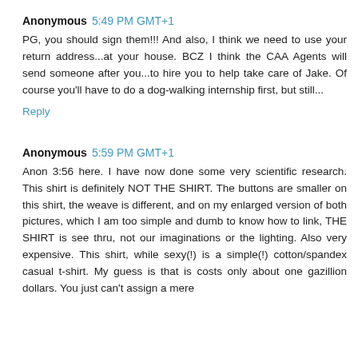Anonymous 5:49 PM GMT+1
PG, you should sign them!!! And also, I think we need to use your return address...at your house. BCZ I think the CAA Agents will send someone after you...to hire you to help take care of Jake. Of course you'll have to do a dog-walking internship first, but still...
Reply
Anonymous 5:59 PM GMT+1
Anon 3:56 here. I have now done some very scientific research. This shirt is definitely NOT THE SHIRT. The buttons are smaller on this shirt, the weave is different, and on my enlarged version of both pictures, which I am too simple and dumb to know how to link, THE SHIRT is see thru, not our imaginations or the lighting. Also very expensive. This shirt, while sexy(!) is a simple(!) cotton/spandex casual t-shirt. My guess is that is costs only about one gazillion dollars. You just can't assign a mere